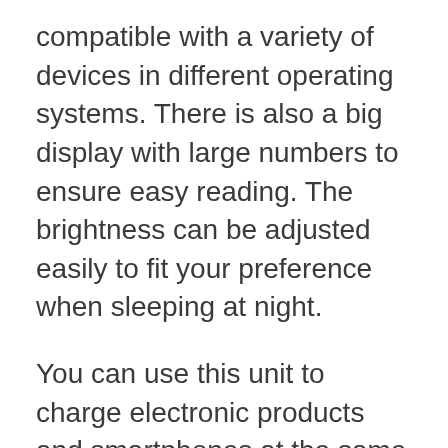compatible with a variety of devices in different operating systems. There is also a big display with large numbers to ensure easy reading. The brightness can be adjusted easily to fit your preference when sleeping at night.
You can use this unit to charge electronic products and smartphones at the same time via wireless charging. With a sleek and unique design, this product can be placed easily in any space of your home. Advanced wireless technology helps to simplify the process and save a lot of your time.